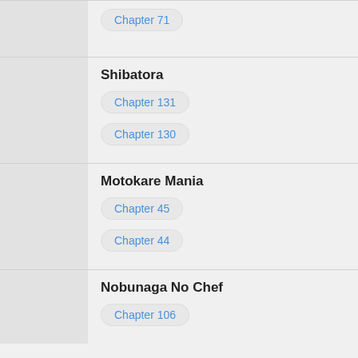Chapter 71
Shibatora
Chapter 131
Chapter 130
Motokare Mania
Chapter 45
Chapter 44
Nobunaga No Chef
Chapter 106